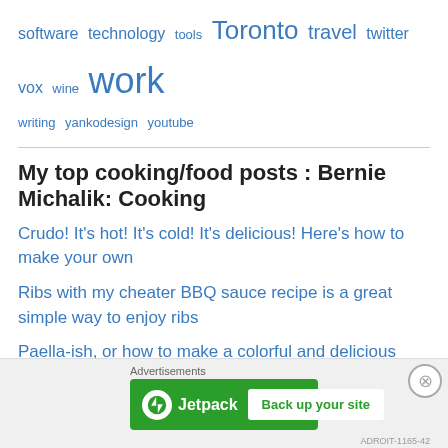software technology tools Toronto travel twitter vox wine work writing yankodesign youtube
My top cooking/food posts : Bernie Michalik: Cooking
Crudo! It's hot! It's cold! It's delicious! Here's how to make your own
Ribs with my cheater BBQ sauce recipe is a great simple way to enjoy ribs
Paella-ish, or how to make a colorful and delicious meal of rice and seafood goodness
Recent Comments
[Figure (other): Jetpack advertisement banner with 'Back up your site' button]